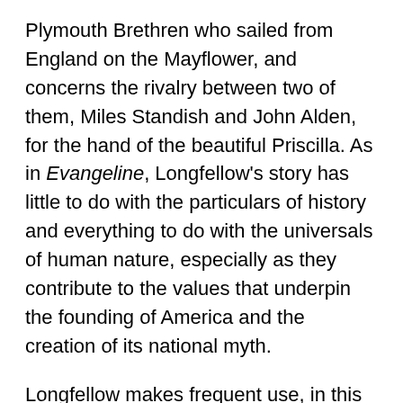Plymouth Brethren who sailed from England on the Mayflower, and concerns the rivalry between two of them, Miles Standish and John Alden, for the hand of the beautiful Priscilla. As in Evangeline, Longfellow's story has little to do with the particulars of history and everything to do with the universals of human nature, especially as they contribute to the values that underpin the founding of America and the creation of its national myth.
Longfellow makes frequent use, in this poem and others, of a poetic device that links his epic to Homer's, the extended simile.
He spoke, and such a murmur rose, as on a lofty shore The waves make when the south wind comes, and tumbles them before Against a rock, grown near the strand, which diversely